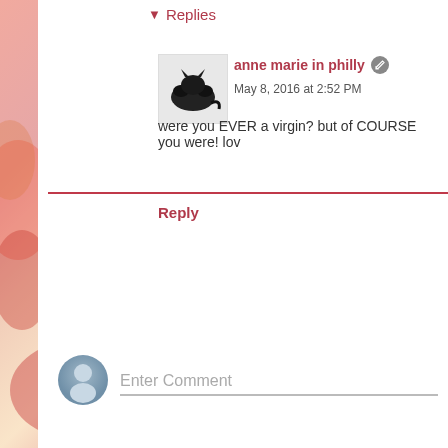▼ Replies
[Figure (photo): Small avatar photo of a black cat on a white/gray surface]
anne marie in philly  May 8, 2016 at 2:52 PM
were you EVER a virgin? but of COURSE you were! lov
Reply
[Figure (illustration): Generic user avatar icon (circle with person silhouette, bluish-gray)]
Enter Comment
Newer Post
Home
Subscribe to: Post Comments (Atom)